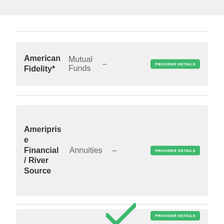American Fidelity* | Mutual Funds | – | PROVIDER DETAILS
Ameriprise Financial / River Source | Annuities | – | PROVIDER DETAILS
[Figure (other): Partial card with green checkmark and PROVIDER DETAILS button visible at bottom of page]